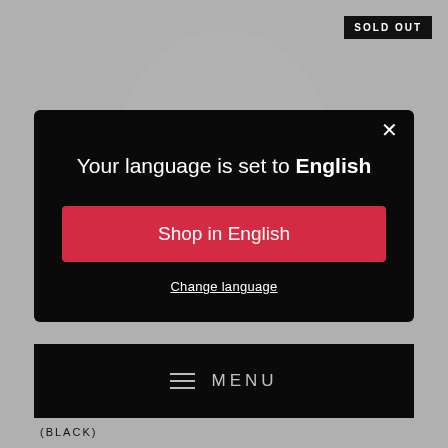SOLD OUT
[Figure (screenshot): Language selection modal dialog on dark background with 'Your language is set to English' heading, a red 'Shop in English' button, and a 'Change language' underlined link. A close X button is in the top right of the modal.]
Your language is set to English
Shop in English
Change language
≡ MENU
(BLACK)